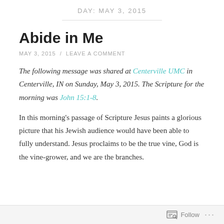DAY: MAY 3, 2015
Abide in Me
MAY 3, 2015 / LEAVE A COMMENT
The following message was shared at Centerville UMC in Centerville, IN on Sunday, May 3, 2015. The Scripture for the morning was John 15:1-8.
In this morning's passage of Scripture Jesus paints a glorious picture that his Jewish audience would have been able to fully understand. Jesus proclaims to be the true vine, God is the vine-grower, and we are the branches.
Follow